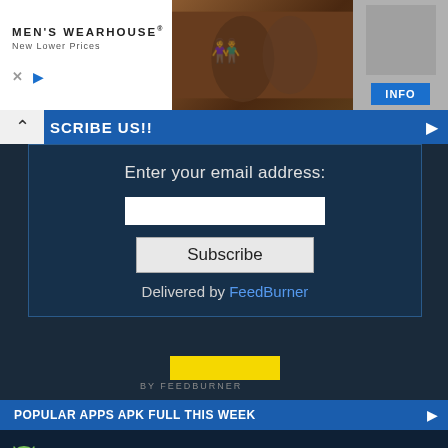[Figure (screenshot): Men's Wearhouse advertisement banner with logo, couple in formalwear, man in suit, and INFO button]
SUBSCRIBE US!!
Enter your email address:
Subscribe
Delivered by FeedBurner
POPULAR APPS APK FULL THIS WEEK
Brothers:Unruly Heroes v1.1 APK
Nova Launcher Prime v7.0.57 APK
PUBG Mobile v1.4.0 [Traverse] APK
Call of Duty Mobile v1.0.28 [Mod] APK